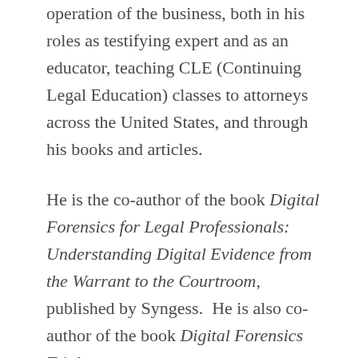operation of the business, both in his roles as testifying expert and as an educator, teaching CLE (Continuing Legal Education) classes to attorneys across the United States, and through his books and articles.
He is the co-author of the book Digital Forensics for Legal Professionals: Understanding Digital Evidence from the Warrant to the Courtroom, published by Syngess. He is also co-author of the book Digital Forensics Trial